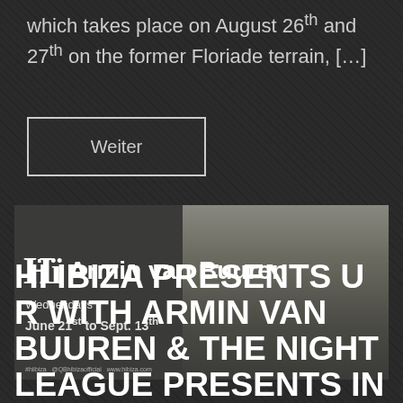which takes place on August 26th and 27th on the former Floriade terrain, […]
Weiter
[Figure (photo): Promotional banner for Hï Ibiza featuring Armin van Buuren. Shows a man (Armin van Buuren) in a black t-shirt against a dark background, with the Hï logo and text 'Armin van Buuren, Wednesdays, June 21st to Sept. 13th'. Bottom text shows #hiibiza, @QBhibizaofficial, www.hibiza.com]
HÏ IBIZA PRESENTS U R WITH ARMIN VAN BUUREN & THE NIGHT LEAGUE PRESENTS IN